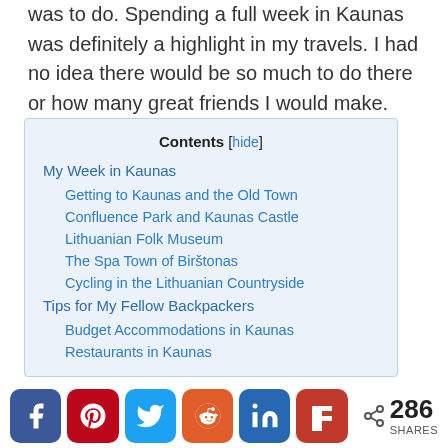was to do. Spending a full week in Kaunas was definitely a highlight in my travels. I had no idea there would be so much to do there or how many great friends I would make.
| Contents |
| --- |
| My Week in Kaunas |
| Getting to Kaunas and the Old Town |
| Confluence Park and Kaunas Castle |
| Lithuanian Folk Museum |
| The Spa Town of Birštonas |
| Cycling in the Lithuanian Countryside |
| Tips for My Fellow Backpackers |
| Budget Accommodations in Kaunas |
| Restaurants in Kaunas |
[Figure (infographic): Social share bar with Facebook, Pinterest, Twitter, Reddit, LinkedIn, Flipboard buttons and share count of 286]